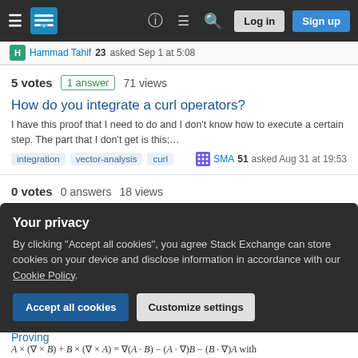Stack Exchange navigation bar with hamburger menu, site icon, help, chat, search icons, Log in and Sign up buttons
H Hammad Tahif 23 asked Sep 1 at 5:08
5 votes  1 answer  71 views
How do you integrate a curl operators?
I have this proof that I need to do and I don't know how to execute a certain step. The part that I don't get is this;…
integration  vector-analysis  curl  SMA 51 asked Aug 31 at 19:53
0 votes  0 answers  18 views
curl applied to the fourier transform of a function?
I am studying Helmholtz decomposition
Your privacy
By clicking "Accept all cookies", you agree Stack Exchange can store cookies on your device and disclose information in accordance with our Cookie Policy.
Accept all cookies    Customize settings
Proving